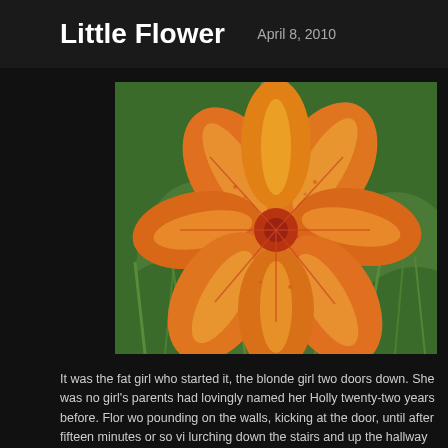Little Flower
April 8, 2010
[Figure (photo): Close-up photograph of an orange lily flower with yellow and red markings, set against a green leafy background with a gray tree trunk visible at the top.]
It was the fat girl who started it, the blonde girl two doors down. She was no girl's parents had lovingly named her Holly twenty-two years before. Flor wo pounding on the walls, kicking at the door, until after fifteen minutes or so vi lurching down the stairs and up the hallway and the guera screamed at him the door, and moments later came the muffled sound of a gunshot. Cal was